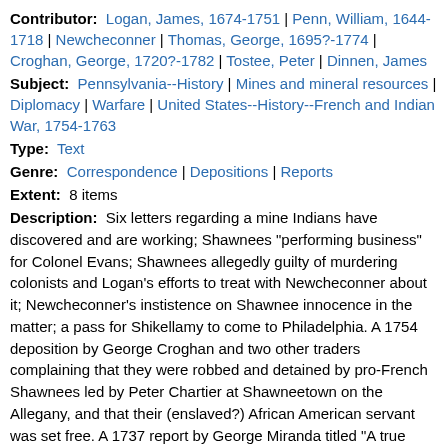Contributor: Logan, James, 1674-1751 | Penn, William, 1644-1718 | Newcheconner | Thomas, George, 1695?-1774 | Croghan, George, 1720?-1782 | Tostee, Peter | Dinnen, James
Subject: Pennsylvania--History | Mines and mineral resources | Diplomacy | Warfare | United States--History--French and Indian War, 1754-1763
Type: Text
Genre: Correspondence | Depositions | Reports
Extent: 8 items
Description: Six letters regarding a mine Indians have discovered and are working; Shawnees "performing business" for Colonel Evans; Shawnees allegedly guilty of murdering colonists and Logan's efforts to treat with Newcheconner about it; Newcheconner's instistence on Shawnee innocence in the matter; a pass for Shikellamy to come to Philadelphia. A 1754 deposition by George Croghan and two other traders complaining that they were robbed and detained by pro-French Shawnees led by Peter Chartier at Shawneetown on the Allegany, and that their (enslaved?) African American servant was set free. A 1737 report by George Miranda titled "A true account of all the men in the three towns in Allegania of the Shawnese nation, " containing names and total population figures for French Town, Peter Chartier Town, Kiscomonetta's Town.